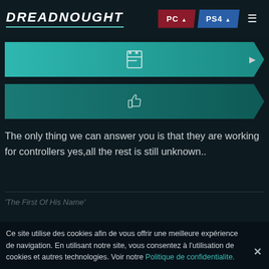DREADNOUGHT | PC | PS4
[Figure (screenshot): Teal parallelogram bar with quote/bookmark icon]
[Figure (screenshot): Teal parallelogram bar with thumbs-up icon]
The only thing we can answer you is that they are working for controllers yes,all the rest is still unknown..
'The First Of His Name'
Ce site utilise des cookies afin de vous offrir une meilleure expérience de navigation. En utilisant notre site, vous consentez à l'utilisation de cookies et autres technologies. Voir notre Politique de confidentialite.